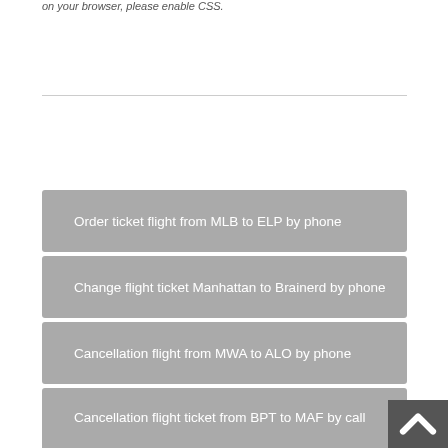on your browser, please enable CSS.
Order ticket flight from MLB to ELP by phone
Change flight ticket Manhattan to Brainerd by phone
Cancellation flight from MWA to ALO by phone
Cancellation flight ticket from BPT to MAF by call
Reservation ticket flight from STX to TXK by phone
Rebooking flight ticket from TPA to EAT by call
Order ticket flight from LAS to ILM by call